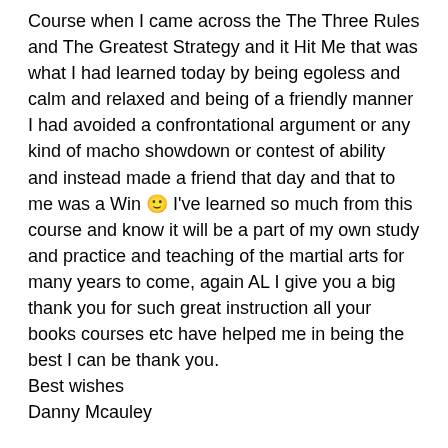Course when I came across the The Three Rules and The Greatest Strategy and it Hit Me that was what I had learned today by being egoless and calm and relaxed and being of a friendly manner I had avoided a confrontational argument or any kind of macho showdown or contest of ability and instead made a friend that day and that to me was a Win 🙂 I've learned so much from this course and know it will be a part of my own study and practice and teaching of the martial arts for many years to come, again AL I give you a big thank you for such great instruction all your books courses etc have helped me in being the best I can be thank you. Best wishes
Danny Mcauley
There was more to his win,
but I really wanted to emphasize what he had done.
He used the greatest strategy and
defused a potential fight,
and made a potential friend.